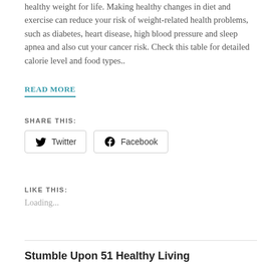healthy weight for life. Making healthy changes in diet and exercise can reduce your risk of weight-related health problems, such as diabetes, heart disease, high blood pressure and sleep apnea and also cut your cancer risk. Check this table for detailed calorie level and food types..
READ MORE
SHARE THIS:
Twitter
Facebook
LIKE THIS:
Loading...
Stumble Upon 51 Healthy Living